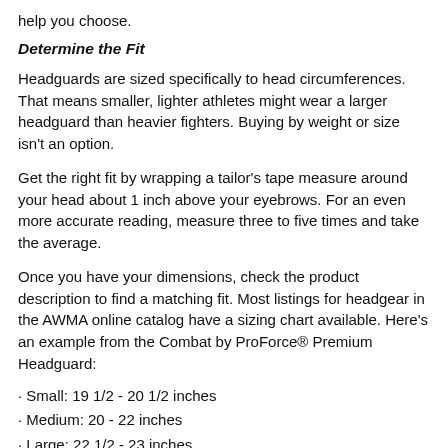help you choose.
Determine the Fit
Headguards are sized specifically to head circumferences. That means smaller, lighter athletes might wear a larger headguard than heavier fighters. Buying by weight or size isn't an option.
Get the right fit by wrapping a tailor's tape measure around your head about 1 inch above your eyebrows. For an even more accurate reading, measure three to five times and take the average.
Once you have your dimensions, check the product description to find a matching fit. Most listings for headgear in the AWMA online catalog have a sizing chart available. Here's an example from the Combat by ProForce® Premium Headguard:
· Small: 19 1/2 - 20 1/2 inches
· Medium: 20 - 22 inches
· Large: 22 1/2 - 23 inches
· X-Large: 23 1/2 - 24 inches